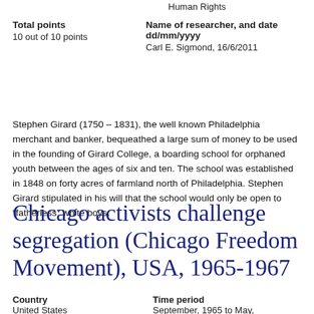Human Rights
Total points
10 out of 10 points
Name of researcher, and date dd/mm/yyyy
Carl E. Sigmond, 16/6/2011
Stephen Girard (1750 – 1831), the well known Philadelphia merchant and banker, bequeathed a large sum of money to be used in the founding of Girard College, a boarding school for orphaned youth between the ages of six and ten. The school was established in 1848 on forty acres of farmland north of Philadelphia. Stephen Girard stipulated in his will that the school would only be open to “fatherless” white boys.
Chicago activists challenge segregation (Chicago Freedom Movement), USA, 1965-1967
Country
United States
Time period
September, 1965 to May,